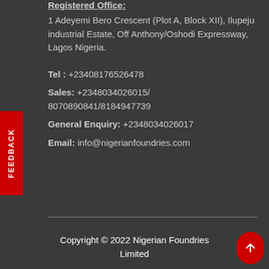Registered Office:
1 Adeyemi Bero Crescent (Plot A, Block XII), Ilupeju industrial Estate, Off Anthony/Oshodi Expressway, Lagos Nigeria.
Tel : +23408176526478
Sales: +2348034026015/8070890841/8184947739
General Enquiry: +2348034026017
Email: info@nigerianfoundries.com
Copyright © 2022 Nigerian Foundries Limited